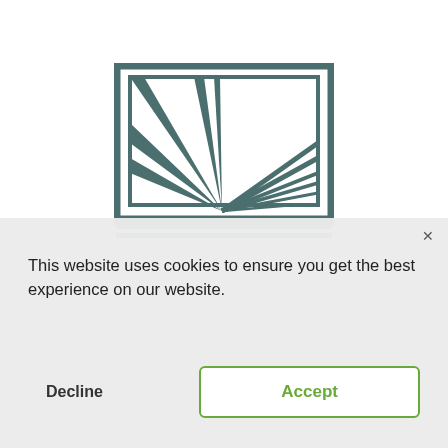[Figure (logo): A stylized logo featuring a rectangular frame with radiating lines/rays emanating from a central point at the bottom, some thick diagonal beams on the left and thinner parallel diagonal lines on the right, in dark teal/green color. Appears to be a broadcasting or media company logo.]
This website uses cookies to ensure you get the best experience on our website.
Decline
Accept